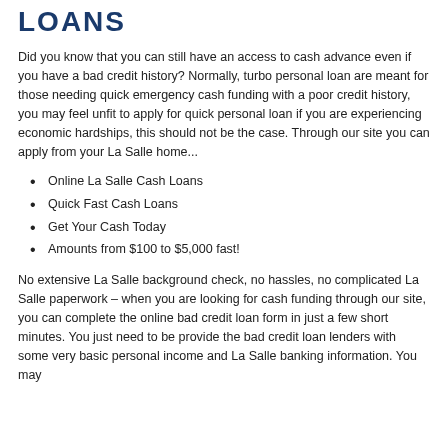LOANS
Did you know that you can still have an access to cash advance even if you have a bad credit history? Normally, turbo personal loan are meant for those needing quick emergency cash funding with a poor credit history, you may feel unfit to apply for quick personal loan if you are experiencing economic hardships, this should not be the case. Through our site you can apply from your La Salle home...
Online La Salle Cash Loans
Quick Fast Cash Loans
Get Your Cash Today
Amounts from $100 to $5,000 fast!
No extensive La Salle background check, no hassles, no complicated La Salle paperwork – when you are looking for cash funding through our site, you can complete the online bad credit loan form in just a few short minutes. You just need to be provide the bad credit loan lenders with some very basic personal income and La Salle banking information. You may